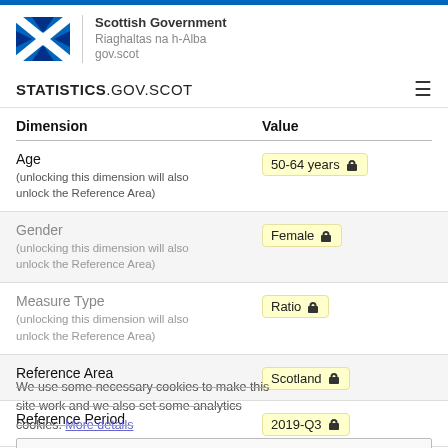[Figure (logo): Scottish Government logo with Saltire flag and text: Scottish Government, Riaghaltas na h-Alba, gov.scot]
STATISTICS.GOV.SCOT
| Dimension | Value |
| --- | --- |
| Age
(unlocking this dimension will also unlock the Reference Area) | 50-64 years 🔒 |
| Gender
(unlocking this dimension will also unlock the Reference Area) | Female 🔒 |
| Measure Type
(unlocking this dimension will also unlock the Reference Area) | Ratio 🔒 |
| Reference Area | Scotland 🔒 |
| Reference Period | 2019-Q3 🔒 |
We use some necessary cookies to make this site work and we also set some analytics cookies. More details
Got it!